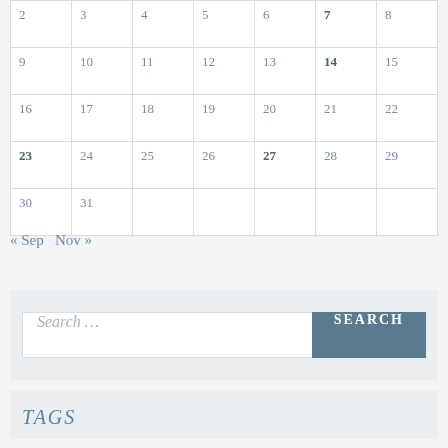| 2 | 3 | 4 | 5 | 6 | 7 | 8 |
| 9 | 10 | 11 | 12 | 13 | 14 | 15 |
| 16 | 17 | 18 | 19 | 20 | 21 | 22 |
| 23 | 24 | 25 | 26 | 27 | 28 | 29 |
| 30 | 31 |  |  |  |  |  |
« Sep   Nov »
Search ...
TAGS